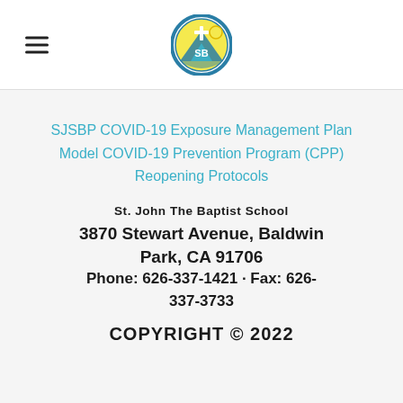[Figure (logo): Circular school seal/logo with blue border, yellow and teal design featuring a mountain and cross, initials SB in center]
SJSBP COVID-19 Exposure Management Plan
Model COVID-19 Prevention Program (CPP)
Reopening Protocols
St. John The Baptist School
3870 Stewart Avenue, Baldwin Park, CA 91706
Phone: 626-337-1421 · Fax: 626-337-3733
COPYRIGHT © 2022